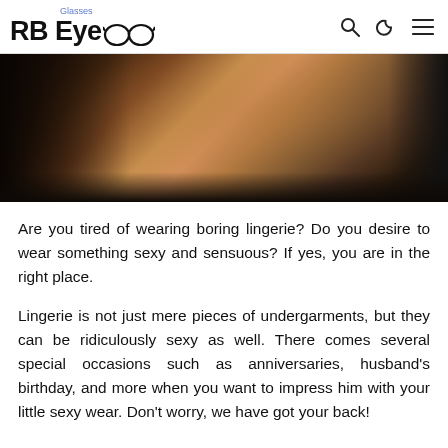RB Eye Glasses [logo with glasses icon, search, moon, menu icons]
[Figure (photo): Dark moody photo showing a person's legs/body reclining near a chair with studded upholstery, warm amber and brown tones]
Are you tired of wearing boring lingerie? Do you desire to wear something sexy and sensuous? If yes, you are in the right place.
Lingerie is not just mere pieces of undergarments, but they can be ridiculously sexy as well. There comes several special occasions such as anniversaries, husband's birthday, and more when you want to impress him with your little sexy wear. Don't worry, we have got your back!